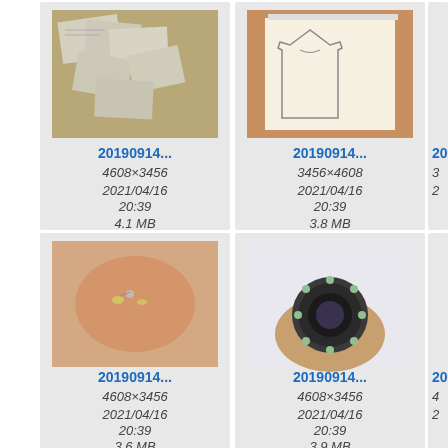[Figure (screenshot): File browser/gallery showing image thumbnails with filenames '20190914...', dimensions, dates and file sizes. Row 1: photo of papers on table (4608×3456, 2021/04/16 20:39, 4.1 MB), sketch drawing (3456×4608, 2021/04/16 20:39, 3.8 MB), partial third card. Row 2: hand holding small jewelry/gems (4608×3456, 2021/04/16 20:39, 3.6 MB), hand holding decorated brooch (4608×3456, 2021/04/16 20:39, 3.9 MB), partial third card. Row 3: partial bottom row with three more thumbnails.]